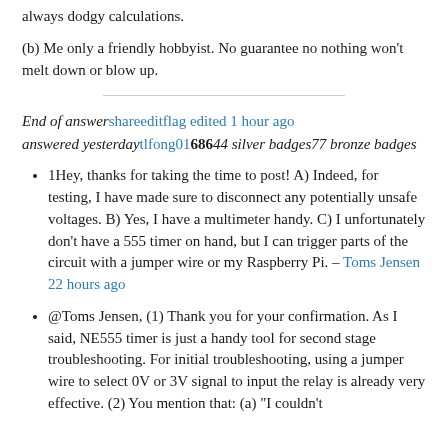always dodgy calculations.
(b) Me only a friendly hobbyist. No guarantee no nothing won't melt down or blow up.
End of answer share edit flag edited 1 hour ago answered yesterday tlfong01 686 44 silver badges 77 bronze badges
1Hey, thanks for taking the time to post! A) Indeed, for testing, I have made sure to disconnect any potentially unsafe voltages. B) Yes, I have a multimeter handy. C) I unfortunately don't have a 555 timer on hand, but I can trigger parts of the circuit with a jumper wire or my Raspberry Pi. – Toms Jensen 22 hours ago
@Toms Jensen, (1) Thank you for your confirmation. As I said, NE555 timer is just a handy tool for second stage troubleshooting. For initial troubleshooting, using a jumper wire to select 0V or 3V signal to input the relay is already very effective. (2) You mention that: (a) "I couldn't